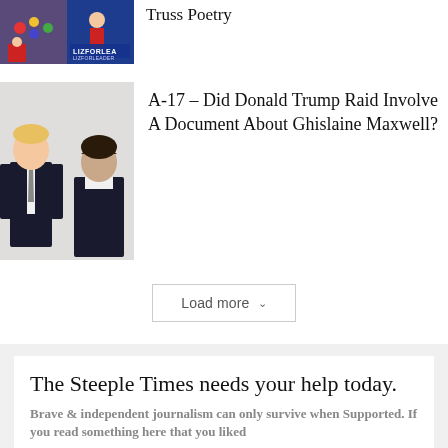[Figure (photo): Thumbnail image showing what appears to be gaming controls and a woman with a 'LIZ FOR LEA' campaign sign]
Truss Poetry
[Figure (photo): Black and white photo of Donald Trump standing with Ghislaine Maxwell]
A-17 – Did Donald Trump Raid Involve A Document About Ghislaine Maxwell?
Load more
The Steeple Times needs your help today.
Brave & independent journalism can only survive when Supported. If you read something here that you liked